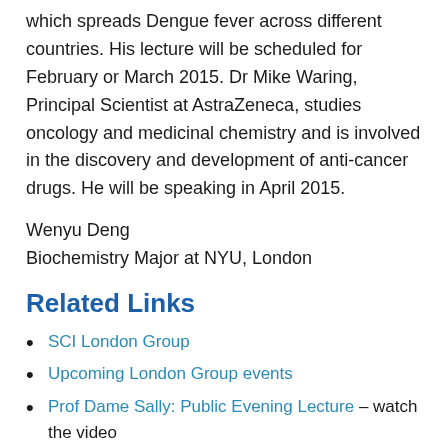which spreads Dengue fever across different countries. His lecture will be scheduled for February or March 2015. Dr Mike Waring, Principal Scientist at AstraZeneca, studies oncology and medicinal chemistry and is involved in the discovery and development of anti-cancer drugs. He will be speaking in April 2015.
Wenyu Deng
Biochemistry Major at NYU, London
Related Links
SCI London Group
Upcoming London Group events
Prof Dame Sally: Public Evening Lecture – watch the video
Dr Hadyn Parry: Public Evening Lecture –